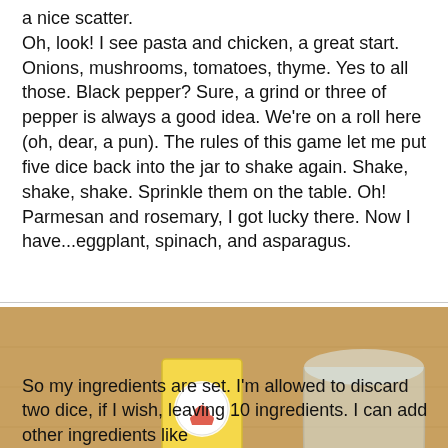a nice scatter.
Oh, look! I see pasta and chicken, a great start. Onions, mushrooms, tomatoes, thyme. Yes to all those. Black pepper? Sure, a grind or three of pepper is always a good idea. We're on a roll here (oh, dear, a pun). The rules of this game let me put five dice back into the jar to shake again. Shake, shake, shake. Sprinkle them on the table. Oh! Parmesan and rosemary, I got lucky there. Now I have...eggplant, spinach, and asparagus.
[Figure (photo): A wooden table with scattered wooden food dice (small cubes with food illustrations on their faces) spread out in a loose scatter pattern. In the background is a clear glass jar lying on its side, and a yellow card/box with a red cupcake logo visible. The dice show various food ingredient symbols.]
So my ingredients are set. I'm allowed to discard two dice, if I wish, leaving 10 ingredients. I can add other ingredients like